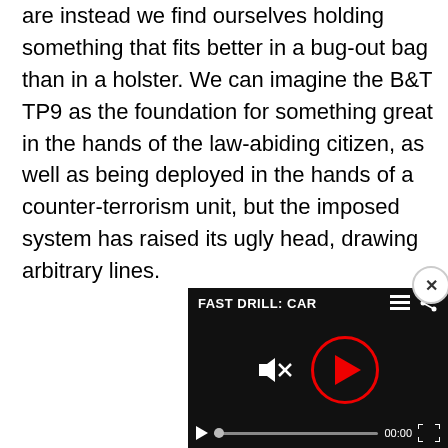are instead we find ourselves holding something that fits better in a bug-out bag than in a holster. We can imagine the B&T TP9 as the foundation for something great in the hands of the law-abiding citizen, as well as being deployed in the hands of a counter-terrorism unit, but the imposed system has raised its ugly head, drawing arbitrary lines.
[Figure (screenshot): Video player overlay with title 'FAST DRILL: CAR', muted speaker icon, large red play button circle, small play button, progress bar at 00:00, and fullscreen icon. Black background.]